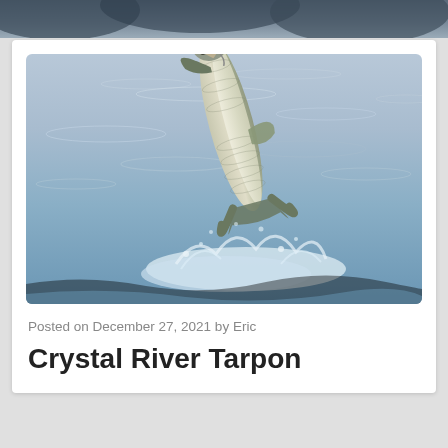[Figure (photo): A tarpon fish leaping out of the water with splash, water ripples visible in background]
Posted on December 27, 2021 by Eric
Crystal River Tarpon